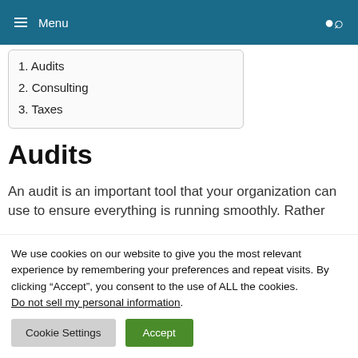Menu
1. Audits
2. Consulting
3. Taxes
Audits
An audit is an important tool that your organization can use to ensure everything is running smoothly. Rather
We use cookies on our website to give you the most relevant experience by remembering your preferences and repeat visits. By clicking “Accept”, you consent to the use of ALL the cookies.
Do not sell my personal information.